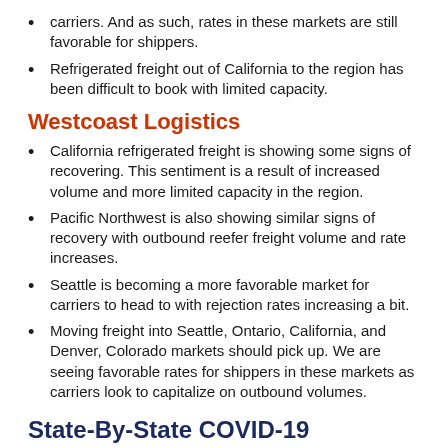carriers. And as such, rates in these markets are still favorable for shippers.
Refrigerated freight out of California to the region has been difficult to book with limited capacity.
Westcoast Logistics
California refrigerated freight is showing some signs of recovering. This sentiment is a result of increased volume and more limited capacity in the region.
Pacific Northwest is also showing similar signs of recovery with outbound reefer freight volume and rate increases.
Seattle is becoming a more favorable market for carriers to head to with rejection rates increasing a bit.
Moving freight into Seattle, Ontario, California, and Denver, Colorado markets should pick up. We are seeing favorable rates for shippers in these markets as carriers look to capitalize on outbound volumes.
State-By-State COVID-19 Reopening Status